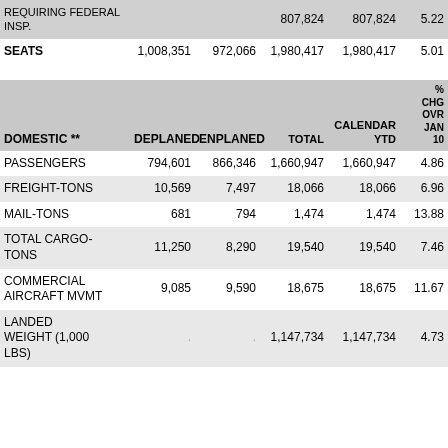| DOMESTIC ** | DEPLANED | ENPLANED | TOTAL | CALENDAR YTD | % CHG OVR JAN 10 C |
| --- | --- | --- | --- | --- | --- |
| REQUIRING FEDERAL INSP. |  |  | 807,824 | 807,824 | 5.22 |
| SEATS | 1,008,351 | 972,066 | 1,980,417 | 1,980,417 | 5.01 |
| PASSENGERS | 794,601 | 866,346 | 1,660,947 | 1,660,947 | 4.86 |
| FREIGHT-TONS | 10,569 | 7,497 | 18,066 | 18,066 | 6.96 |
| MAIL-TONS | 681 | 794 | 1,474 | 1,474 | 13.88 |
| TOTAL CARGO-TONS | 11,250 | 8,290 | 19,540 | 19,540 | 7.46 |
| COMMERCIAL AIRCRAFT MVMT | 9,085 | 9,590 | 18,675 | 18,675 | 11.67 |
| LANDED WEIGHT (1,000 LBS) | . | . | 1,147,734 | 1,147,734 | 4.73 |